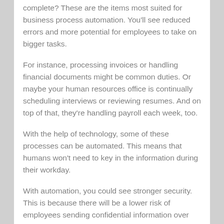complete? These are the items most suited for business process automation. You'll see reduced errors and more potential for employees to take on bigger tasks.
For instance, processing invoices or handling financial documents might be common duties. Or maybe your human resources office is continually scheduling interviews or reviewing resumes. And on top of that, they're handling payroll each week, too.
With the help of technology, some of these processes can be automated. This means that humans won't need to key in the information during their workday.
With automation, you could see stronger security. This is because there will be a lower risk of employees sending confidential information over email.
Find Software to Boost Operation Efficiency